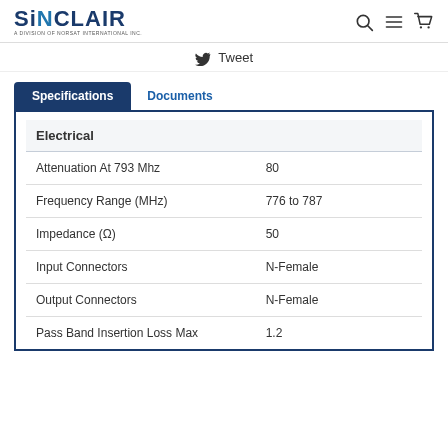SINCLAIR — A Division of Norsat International Inc.
Tweet
Specifications | Documents
| Electrical |  |
| --- | --- |
| Attenuation At 793 Mhz | 80 |
| Frequency Range (MHz) | 776 to 787 |
| Impedance (Ω) | 50 |
| Input Connectors | N-Female |
| Output Connectors | N-Female |
| Pass Band Insertion Loss Max | 1.2 |